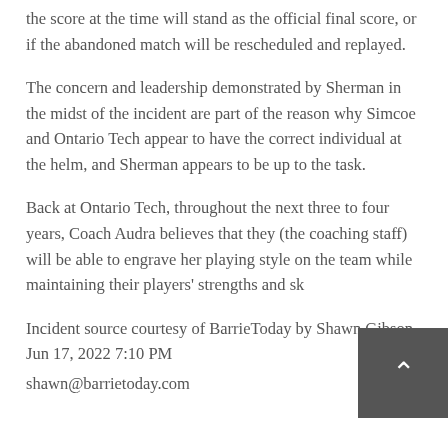the score at the time will stand as the official final score, or if the abandoned match will be rescheduled and replayed.
The concern and leadership demonstrated by Sherman in the midst of the incident are part of the reason why Simcoe and Ontario Tech appear to have the correct individual at the helm, and Sherman appears to be up to the task.
Back at Ontario Tech, throughout the next three to four years, Coach Audra believes that they (the coaching staff) will be able to engrave her playing style on the team while maintaining their players' strengths and sk
Incident source courtesy of BarrieToday by Shawn Gibson Jun 17, 2022 7:10 PM
shawn@barrietoday.com